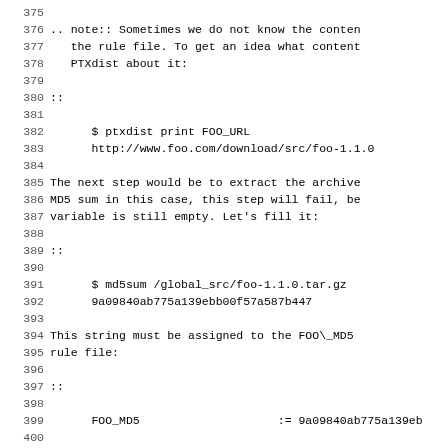375
376 .. note:: Sometimes we do not know the content
377    the rule file. To get an idea what content
378    PTXdist about it:
379
380 ::
381
382        $ ptxdist print FOO_URL
383        http://www.foo.com/download/src/foo-1.1.0
384
385 The next step would be to extract the archive
386 MD5 sum in this case, this step will fail, be
387 variable is still empty. Let's fill it:
388
389 ::
390
391        $ md5sum /global_src/foo-1.1.0.tar.gz
392        9a09840ab775a139ebb00f57a587b447
393
394 This string must be assigned to the FOO\_MD5
395 rule file:
396
397 ::
398
399        FOO_MD5                    := 9a09840ab775a139eb
400
401 We are now prepared for the next step:
402
403 ::
404